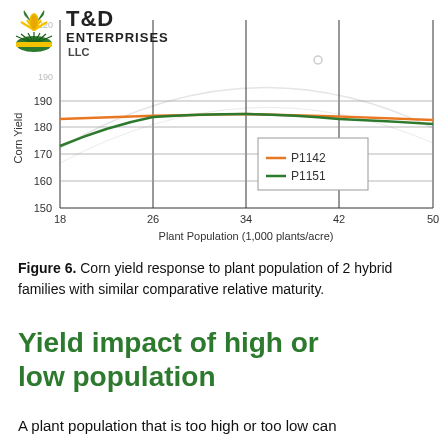[Figure (line-chart): Corn Yield vs Plant Population]
Figure 6. Corn yield response to plant population of 2 hybrid families with similar comparative relative maturity.
Yield impact of high or low population
A plant population that is too high or too low can